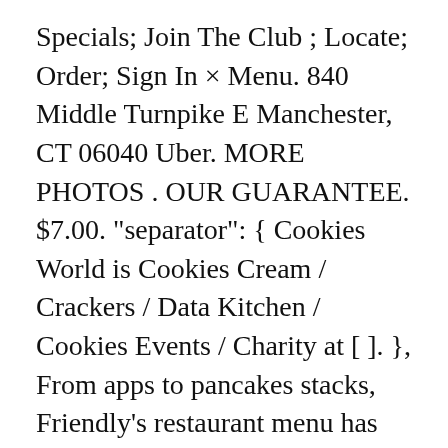Specials; Join The Club ; Locate; Order; Sign In × Menu. 840 Middle Turnpike E Manchester, CT 06040 Uber. MORE PHOTOS . OUR GUARANTEE. $7.00. "separator": { Cookies World is Cookies Cream / Crackers / Data Kitchen / Cookies Events / Charity at [ ]. }, From apps to pancakes stacks, Friendly's restaurant menu has something for the whole family. Opening hours. Customers are free to download and save these images, but not use these digital files (watermarked by the Zomato logo) for any commercial purpose, without prior written permission of Zomato Sundaes. From super-premium ice cream to handcrafted and warm cookies, rich and delicious brownies